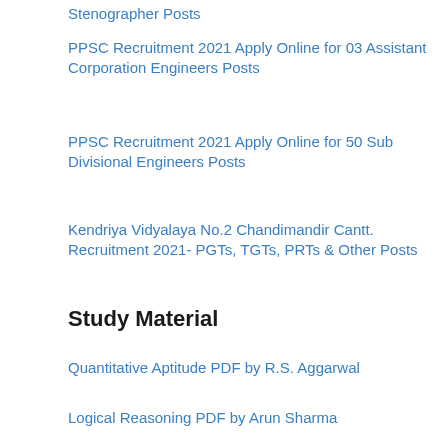Stenographer Posts
PPSC Recruitment 2021 Apply Online for 03 Assistant Corporation Engineers Posts
PPSC Recruitment 2021 Apply Online for 50 Sub Divisional Engineers Posts
Kendriya Vidyalaya No.2 Chandimandir Cantt. Recruitment 2021- PGTs, TGTs, PRTs & Other Posts
Study Material
Quantitative Aptitude PDF by R.S. Aggarwal
Logical Reasoning PDF by Arun Sharma